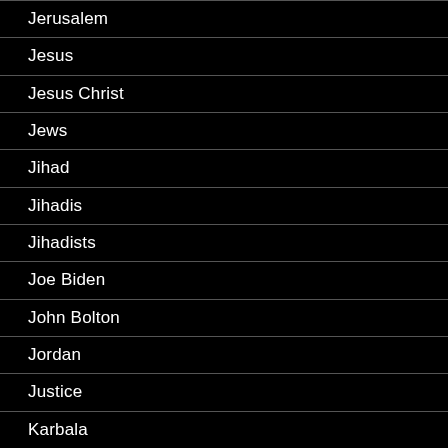Jerusalem
Jesus
Jesus Christ
Jews
Jihad
Jihadis
Jihadists
Joe Biden
John Bolton
Jordan
Justice
Karbala